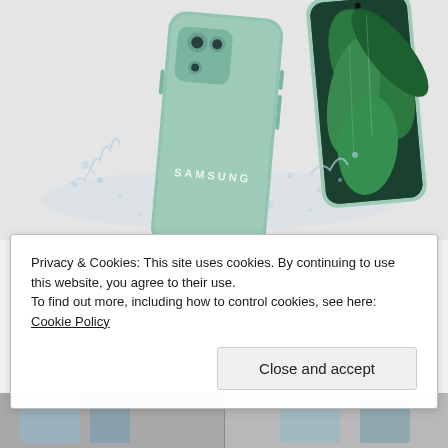[Figure (photo): Samsung smartphone in mint/green color lying at an angle with water splashes around it, and another phone showing green tropical leaves on its display screen, on a light grey background.]
Privacy & Cookies: This site uses cookies. By continuing to use this website, you agree to their use.
To find out more, including how to control cookies, see here: Cookie Policy
Close and accept
[Figure (photo): Bottom strip showing partial view of another image below the cookie notice.]